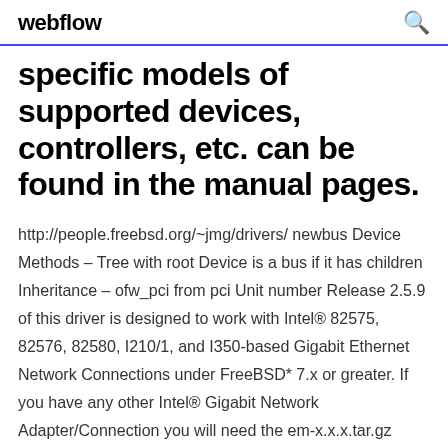webflow
specific models of supported devices, controllers, etc. can be found in the manual pages.
http://people.freebsd.org/~jmg/drivers/ newbus Device Methods – Tree with root Device is a bus if it has children Inheritance – ofw_pci from pci Unit number Release 2.5.9 of this driver is designed to work with Intel® 82575, 82576, 82580, I210/1, and I350-based Gigabit Ethernet Network Connections under FreeBSD* 7.x or greater. If you have any other Intel® Gigabit Network Adapter/Connection you will need the em-x.x.x.tar.gz driver. Device drivers on FreeBSD seem mysterious, and the